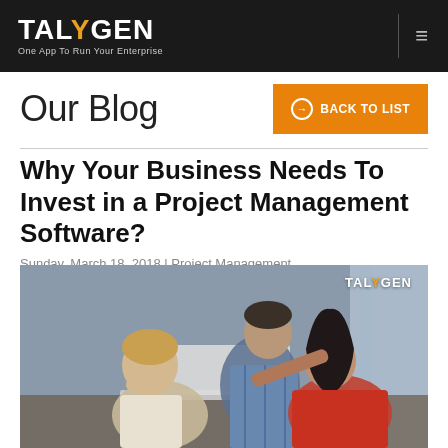TALYGEN — One App To Run Your Enterprise
Our Blog
Why Your Business Needs To Invest in a Project Management Software?
Sunday, March 18, 2018 | Project Management
[Figure (photo): Three people collaborating around a laptop computer — two men and a woman, in an office/study setting. The Talygen logo watermark appears in the top right corner of the image.]